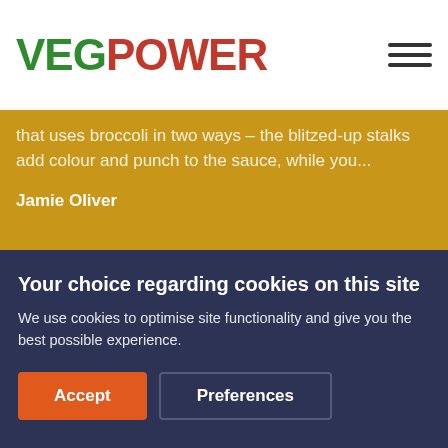[Figure (logo): VegPower logo with VEG in green and POWER in red, hamburger menu icon on right]
Jamie Oliver's broccoli pasta bake is a recipe that uses broccoli in two ways – the blitzed-up stalks add colour and punch to the sauce, while you...
Jamie Oliver
[Figure (photo): Overhead photo of a rectangular baking dish filled with broccoli pasta bake topped with golden breadcrumbs, with a spoon resting in the dish]
Your choice regarding cookies on this site
We use cookies to optimise site functionality and give you the best possible experience.
Accept
Preferences